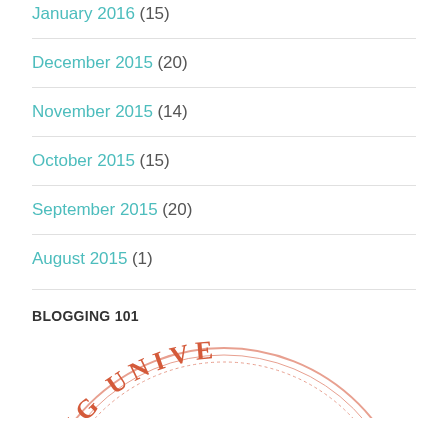January 2016 (15)
December 2015 (20)
November 2015 (14)
October 2015 (15)
September 2015 (20)
August 2015 (1)
BLOGGING 101
[Figure (logo): Circular badge/stamp logo partially visible at bottom, reading 'ING UNIVE' in red/orange with decorative border]